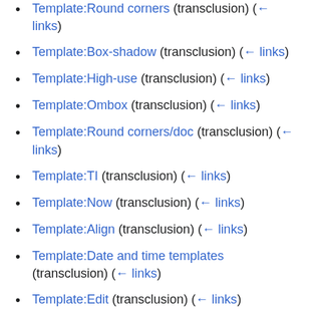Template:Round corners (transclusion) (← links)
Template:Box-shadow (transclusion) (← links)
Template:High-use (transclusion) (← links)
Template:Ombox (transclusion) (← links)
Template:Round corners/doc (transclusion) (← links)
Template:TI (transclusion) (← links)
Template:Now (transclusion) (← links)
Template:Align (transclusion) (← links)
Template:Date and time templates (transclusion) (← links)
Template:Edit (transclusion) (← links)
Template:LastMonth (transclusion) (← links)
Template:Lmonth (transclusion) (← links)